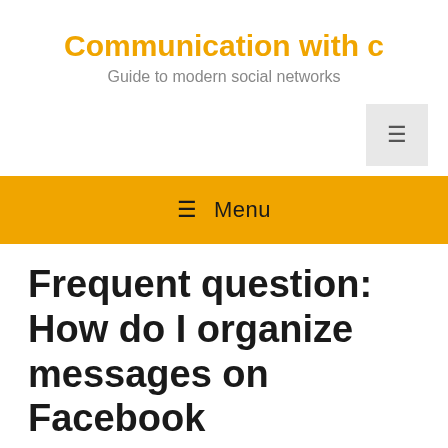Communication with c
Guide to modern social networks
[Figure (other): Hamburger menu toggle button (three horizontal lines icon) on light gray background, positioned top right]
≡ Menu
Frequent question: How do I organize messages on Facebook Messenger?